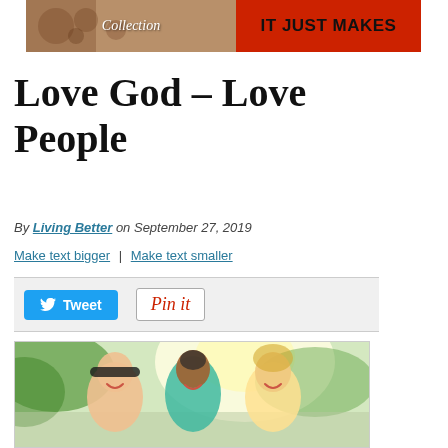[Figure (infographic): Banner advertisement showing 'Collection' text on left with food/nuts background, and 'IT JUST MAKES' bold text on red background on the right]
Love God – Love People
By Living Better on September 27, 2019
Make text bigger | Make text smaller
[Figure (other): Social sharing buttons: Tweet button (blue, Twitter bird icon) and Pin it button (red border, cursive text)]
[Figure (photo): Three smiling women outdoors in bright sunlight, hugging together: a dark-haired Asian woman on left, a Black woman with short hair in the middle, and a blonde woman on the right. They appear joyful and friendly.]